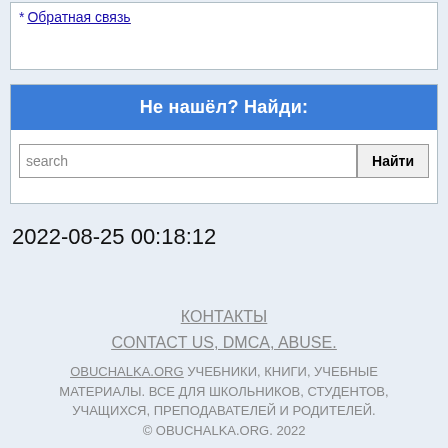* Обратная связь
Не нашёл? Найди:
search  Найти
2022-08-25 00:18:12
КОНТАКТЫ
CONTACT US, DMCA, ABUSE.
OBUCHALKA.ORG УЧЕБНИКИ, КНИГИ, УЧЕБНЫЕ МАТЕРИАЛЫ. ВСЕ ДЛЯ ШКОЛЬНИКОВ, СТУДЕНТОВ, УЧАЩИХСЯ, ПРЕПОДАВАТЕЛЕЙ И РОДИТЕЛЕЙ.
© OBUCHALKA.ORG. 2022